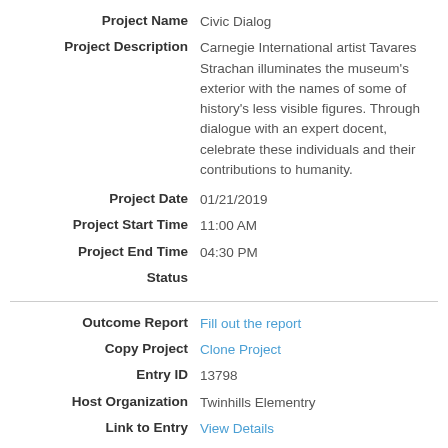Project Name: Civic Dialog
Project Description: Carnegie International artist Tavares Strachan illuminates the museum's exterior with the names of some of history's less visible figures. Through dialogue with an expert docent, celebrate these individuals and their contributions to humanity.
Project Date: 01/21/2019
Project Start Time: 11:00 AM
Project End Time: 04:30 PM
Status:
Outcome Report: Fill out the report
Copy Project: Clone Project
Entry ID: 13798
Host Organization: Twinhills Elementry
Link to Entry: View Details
Project Name: Burlington County Library Initiatives
Project Description: Volunteers will be collecting food donation and